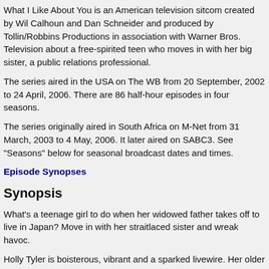What I Like About You is an American television sitcom created by Wil Calhoun and Dan Schneider and produced by Tollin/Robbins Productions in association with Warner Bros. Television about a free-spirited teen who moves in with her big sister, a public relations professional.
The series aired in the USA on The WB from 20 September, 2002 to 24 April, 2006. There are 86 half-hour episodes in four seasons.
The series originally aired in South Africa on M-Net from 31 March, 2003 to 4 May, 2006. It later aired on SABC3. See "Seasons" below for seasonal broadcast dates and times.
Episode Synopses
Synopsis
What's a teenage girl to do when her widowed father takes off to live in Japan? Move in with her straitlaced sister and wreak havoc.
Holly Tyler is boisterous, vibrant and a sparked livewire. Her older sister Valerie is organised, straightlaced and staid. When their dad moves to Japan, Holly is sent to live with her sister in New York...
Just when Valerie thought she had the perfect life... a promising care...